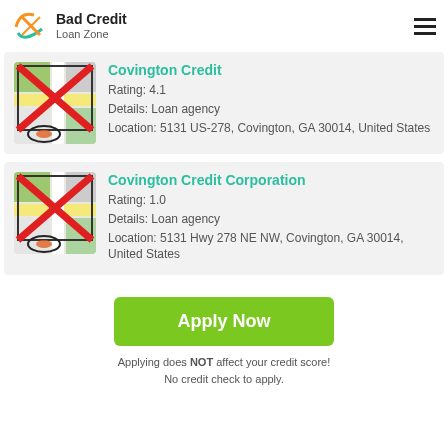Bad Credit Loan Zone
Covington Credit
Rating: 4.1
Details: Loan agency
Location: 5131 US-278, Covington, GA 30014, United States
[Figure (illustration): Map thumbnail with red X overlay and location pin icon]
Covington Credit Corporation
Rating: 1.0
Details: Loan agency
Location: 5131 Hwy 278 NE NW, Covington, GA 30014, United States
[Figure (illustration): Map thumbnail with red X overlay and location pin icon]
Apply Now
Applying does NOT affect your credit score!
No credit check to apply.